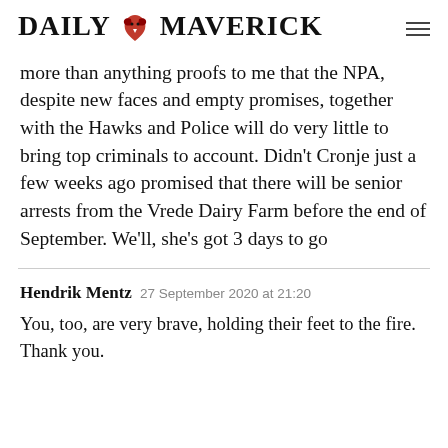DAILY MAVERICK
more than anything proofs to me that the NPA, despite new faces and empty promises, together with the Hawks and Police will do very little to bring top criminals to account. Didn’t Cronje just a few weeks ago promised that there will be senior arrests from the Vrede Dairy Farm before the end of September. We’ll, she’s got 3 days to go
Hendrik Mentz  27 September 2020 at 21:20
You, too, are very brave, holding their feet to the fire. Thank you.